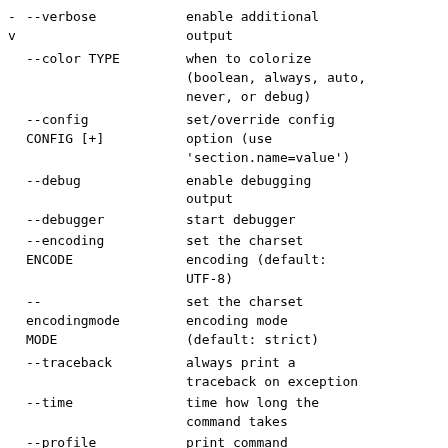-v  --verbose    enable additional output
--color TYPE    when to colorize (boolean, always, auto, never, or debug)
--config CONFIG [+]    set/override config option (use 'section.name=value')
--debug    enable debugging output
--debugger    start debugger
--encoding ENCODE    set the charset encoding (default: UTF-8)
--encodingmode MODE    set the charset encoding mode (default: strict)
--traceback    always print a traceback on exception
--time    time how long the command takes
--profile    print command execution profile